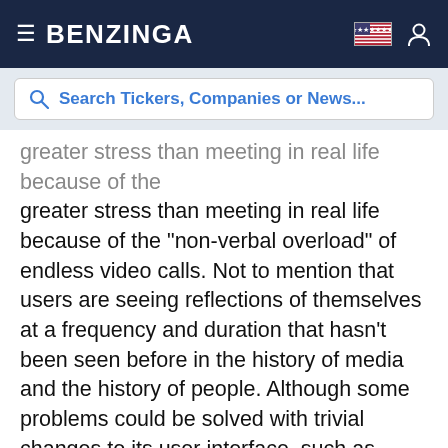BENZINGA
Search Tickers, Companies or News...
greater stress than meeting in real life because of the "non-verbal overload" of endless video calls. Not to mention that users are seeing reflections of themselves at a frequency and duration that hasn't been seen before in the history of media and the history of people. Although some problems could be solved with trivial changes to its user interface, such as automatically hiding the "selfie" window.
The bigger problem with Zoom is that behavior that is ordinarily reserved for close relationships, such as faces seen close up, has suddenly become the way we